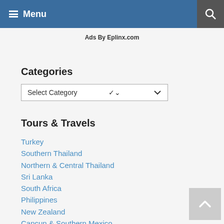Menu
Ads By Eplinx.com
Categories
Select Category
Tours & Travels
Turkey
Southern Thailand
Northern & Central Thailand
Sri Lanka
South Africa
Philippines
New Zealand
Cancun & Southern Mexico
Greater Los Angeles
Egypt
Belize